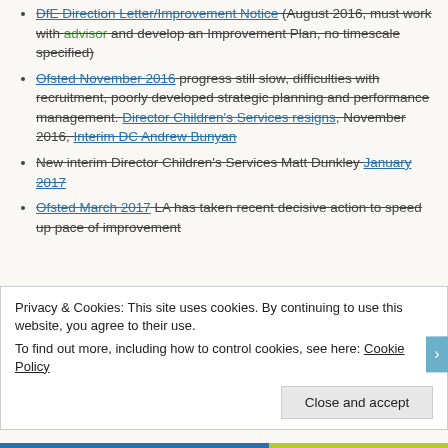DfE Direction Letter/Improvement Notice (August 2016, must work with advisor and develop an Improvement Plan, no timescale specified)
Ofsted November 2016 progress still slow, difficulties with recruitment, poorly developed strategic planning and performance management. Director Children's Services resigns, November 2016, Interim DC Andrew Bunyan
New interim Director Children's Services Matt Dunkley January 2017
Ofsted March 2017 LA has taken recent decisive action to speed up pace of improvement
Privacy & Cookies: This site uses cookies. By continuing to use this website, you agree to their use. To find out more, including how to control cookies, see here: Cookie Policy